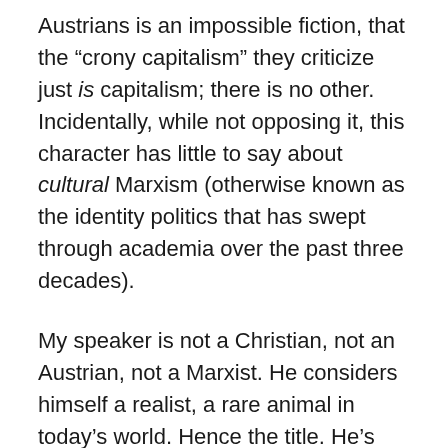Austrians is an impossible fiction, that the “crony capitalism” they criticize just is capitalism; there is no other. Incidentally, while not opposing it, this character has little to say about cultural Marxism (otherwise known as the identity politics that has swept through academia over the past three decades).
My speaker is not a Christian, not an Austrian, not a Marxist. He considers himself a realist, a rare animal in today’s world. Hence the title. He’s also a transhumanist, who believes we will eventually use technology to transform not just the world but ourselves. So he’s an optimist who believes we can save ourselves by trusting in the benign nature of our betters, the philosopher-kings of modernity, the movers and shakers who make things happen behind the scene, who will deal with problems like war and climate change in their own way. This despite how